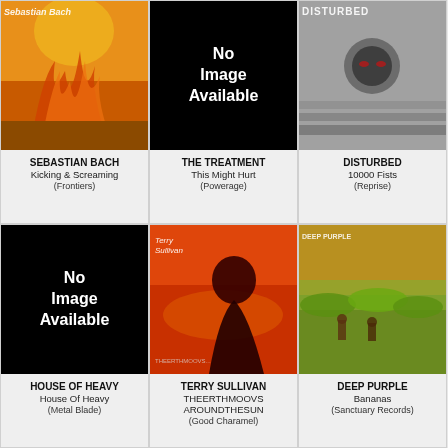[Figure (illustration): Album cover for Sebastian Bach - Kicking & Screaming (Frontiers), fiery fantasy artwork]
SEBASTIAN BACH
Kicking & Screaming
(Frontiers)
[Figure (illustration): No Image Available black placeholder]
THE TREATMENT
This Might Hurt
(Powerage)
[Figure (illustration): Album cover for Disturbed - 10000 Fists (Reprise), black and white image]
DISTURBED
10000 Fists
(Reprise)
[Figure (illustration): No Image Available black placeholder]
HOUSE OF HEAVY
House Of Heavy
(Metal Blade)
[Figure (illustration): Album cover for Terry Sullivan - THEERTHMOOVS AROUNDTHESUN (Good Charamel), orange silhouette]
TERRY SULLIVAN
THEERTHMOOVS AROUNDTHESUN
(Good Charamel)
[Figure (illustration): Album cover for Deep Purple - Bananas (Sanctuary Records), banana field photograph]
DEEP PURPLE
Bananas
(Sanctuary Records)